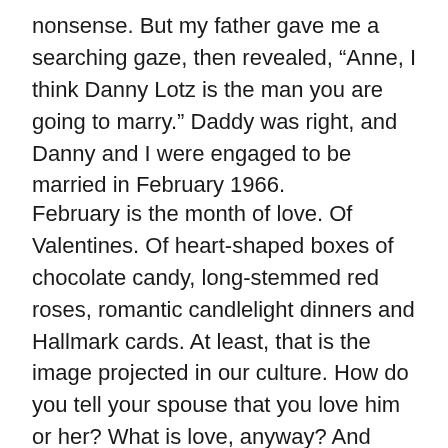nonsense. But my father gave me a searching gaze, then revealed, “Anne, I think Danny Lotz is the man you are going to marry.” Daddy was right, and Danny and I were engaged to be married in February 1966.
February is the month of love. Of Valentines. Of heart-shaped boxes of chocolate candy, long-stemmed red roses, romantic candlelight dinners and Hallmark cards. At least, that is the image projected in our culture. How do you tell your spouse that you love him or her? What is love, anyway? And what happens when the feeling of love runs out of your marriage? As I reflect on more than 46 years as Mrs. Danny Lotz, I know I have learned a lot about loving my spouse.